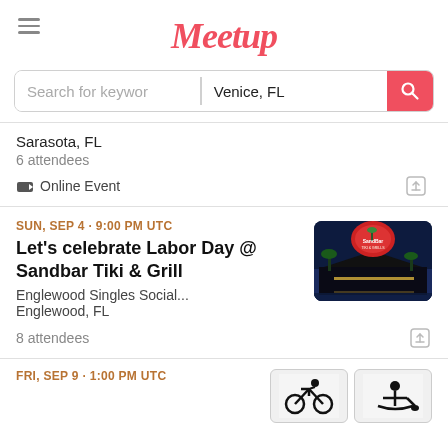Meetup
Search for keywords | Venice, FL
Sarasota, FL
6 attendees
Online Event
SUN, SEP 4 · 9:00 PM UTC
Let's celebrate Labor Day @ Sandbar Tiki & Grill
Englewood Singles Social...
Englewood, FL
8 attendees
[Figure (photo): Sandbar Tiki & Grill nighttime exterior photo with neon sign and palm trees]
FRI, SEP 9 · 1:00 PM UTC
[Figure (photo): Two partially visible event images showing cycling and rowing icons]